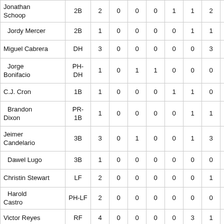| Player | Pos | AB | R | H | RBI | BB | SO | LOB | AVG |
| --- | --- | --- | --- | --- | --- | --- | --- | --- | --- |
| Jonathan Schoop | 2B | 2 | 0 | 0 | 0 | 1 | 1 | 2 | .257 |
| Jordy Mercer | 2B | 1 | 0 | 0 | 0 | 0 | 1 | 1 | .273 |
| Miguel Cabrera | DH | 3 | 0 | 0 | 0 | 0 | 0 | 3 | .333 |
| Jorge Bonifacio | PH-DH | 1 | 0 | 1 | 1 | 0 | 0 | 0 | .286 |
| C.J. Cron | 1B | 1 | 0 | 0 | 0 | 1 | 1 | 0 | .355 |
| Brandon Dixon | PR-1B | 1 | 0 | 0 | 0 | 0 | 1 | 1 | .273 |
| Jeimer Candelario | 3B | 3 | 0 | 1 | 0 | 0 | 1 | 3 | .139 |
| Dawel Lugo | 3B | 1 | 0 | 0 | 0 | 0 | 0 | 0 | .208 |
| Christin Stewart | LF | 2 | 0 | 0 | 0 | 0 | 0 | 1 | .152 |
| Harold Castro | PH-LF | 2 | 0 | 0 | 0 | 0 | 0 | 0 | .240 |
| Victor Reyes | RF | 4 | 0 | 0 | 0 | 0 | 3 | 1 | .303 |
| Grayson | C | 2 | 0 | 0 | 0 | 0 | 1 | 0 | .111 |